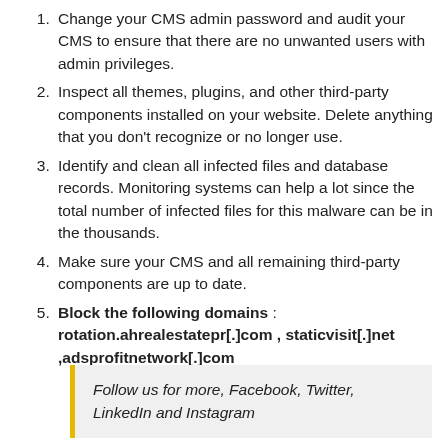Change your CMS admin password and audit your CMS to ensure that there are no unwanted users with admin privileges.
Inspect all themes, plugins, and other third-party components installed on your website. Delete anything that you don't recognize or no longer use.
Identify and clean all infected files and database records. Monitoring systems can help a lot since the total number of infected files for this malware can be in the thousands.
Make sure your CMS and all remaining third-party components are up to date.
Block the following domains: rotation.ahrealestatepr[.]com , staticvisit[.]net ,adsprofitnetwork[.]com
Follow us for more, Facebook, Twitter, LinkedIn and Instagram